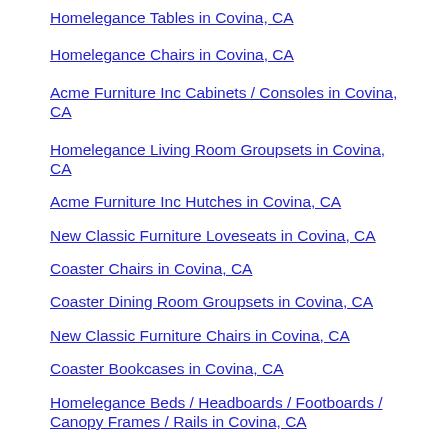Homelegance Tables in Covina, CA
Homelegance Chairs in Covina, CA
Acme Furniture Inc Cabinets / Consoles in Covina, CA
Homelegance Living Room Groupsets in Covina, CA
Acme Furniture Inc Hutches in Covina, CA
New Classic Furniture Loveseats in Covina, CA
Coaster Chairs in Covina, CA
Coaster Dining Room Groupsets in Covina, CA
New Classic Furniture Chairs in Covina, CA
Coaster Bookcases in Covina, CA
Homelegance Beds / Headboards / Footboards / Canopy Frames / Rails in Covina, CA
Acme Furniture Inc Bookcases in Covina, CA